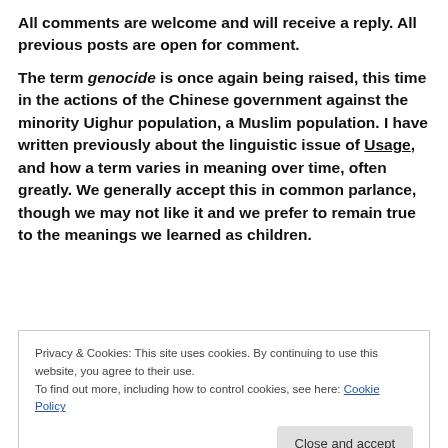All comments are welcome and will receive a reply. All previous posts are open for comment.
The term genocide is once again being raised, this time in the actions of the Chinese government against the minority Uighur population, a Muslim population. I have written previously about the linguistic issue of Usage, and how a term varies in meaning over time, often greatly. We generally accept this in common parlance, though we may not like it and we prefer to remain true to the meanings we learned as children.
Privacy & Cookies: This site uses cookies. By continuing to use this website, you agree to their use.
To find out more, including how to control cookies, see here: Cookie Policy
[Close and accept]
meaning drift becomes so tenuous as to raise the